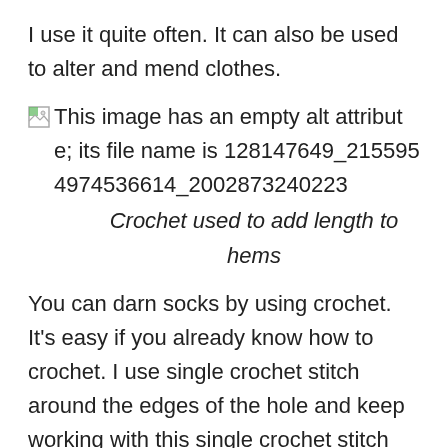I use it quite often. It can also be used to alter and mend clothes.
[Figure (other): Broken image placeholder with alt text: 'This image has an empty alt attribute; its file name is 128147649_2155954974536614_20028732402223']
Crochet used to add length to hems
You can darn socks by using crochet. It’s easy if you already know how to crochet. I use single crochet stitch around the edges of the hole and keep working with this single crochet stitch into the middle until the hole is closed. That’s how easy it is.